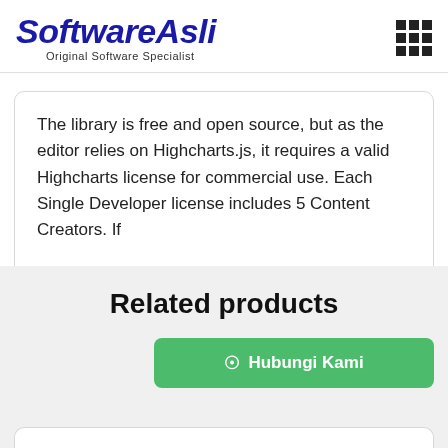SoftwareAsli - Original Software Specialist
The library is free and open source, but as the editor relies on Highcharts.js, it requires a valid Highcharts license for commercial use. Each Single Developer license includes 5 Content Creators. If
Related products
Hubungi Kami